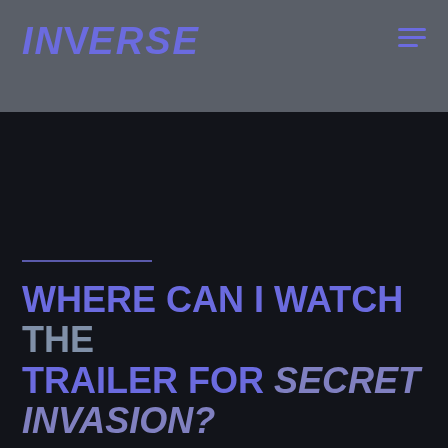INVERSE
WHERE CAN I WATCH THE TRAILER FOR SECRET INVASION?
There is not yet a trailer available for Secret Invasion. With filming having begun in September 2021, it's